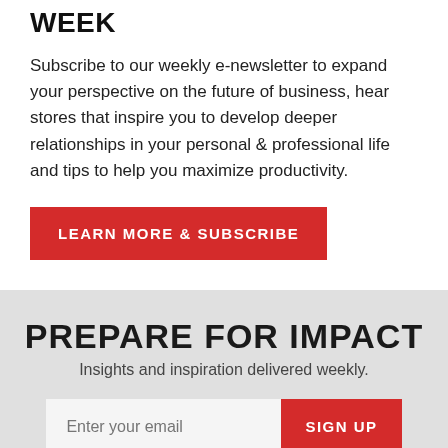WEEK
Subscribe to our weekly e-newsletter to expand your perspective on the future of business, hear stores that inspire you to develop deeper relationships in your personal & professional life and tips to help you maximize productivity.
LEARN MORE & SUBSCRIBE
PREPARE FOR IMPACT
Insights and inspiration delivered weekly.
Enter your email  SIGN UP